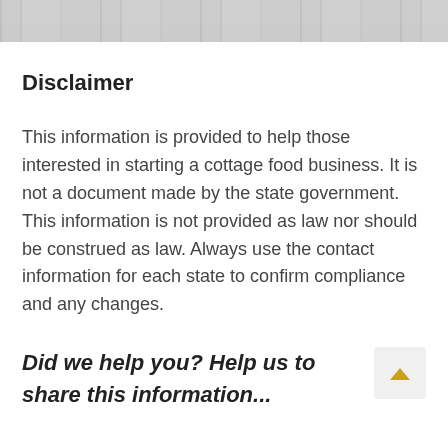[Figure (photo): Decorative header image with a blurred stone or brick pattern in light gray tones]
Disclaimer
This information is provided to help those interested in starting a cottage food business. It is not a document made by the state government. This information is not provided as law nor should be construed as law. Always use the contact information for each state to confirm compliance and any changes.
Did we help you? Help us to share this information...